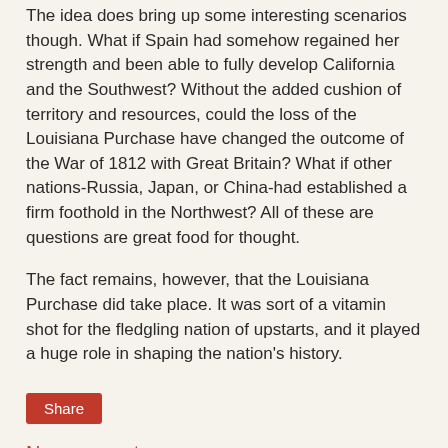The idea does bring up some interesting scenarios though. What if Spain had somehow regained her strength and been able to fully develop California and the Southwest? Without the added cushion of territory and resources, could the loss of the Louisiana Purchase have changed the outcome of the War of 1812 with Great Britain? What if other nations-Russia, Japan, or China-had established a firm foothold in the Northwest? All of these are questions are great food for thought.
The fact remains, however, that the Louisiana Purchase did take place. It was sort of a vitamin shot for the fledgling nation of upstarts, and it played a huge role in shaping the nation's history.
Share
No comments:
Post a Comment